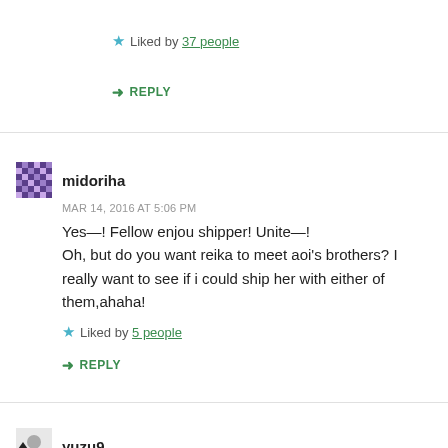Liked by 37 people
REPLY
midoriha
MAR 14, 2016 AT 5:06 PM
Yes—! Fellow enjou shipper! Unite—!
Oh, but do you want reika to meet aoi's brothers? I really want to see if i could ship her with either of them,ahaha!
Liked by 5 people
REPLY
yuzu9